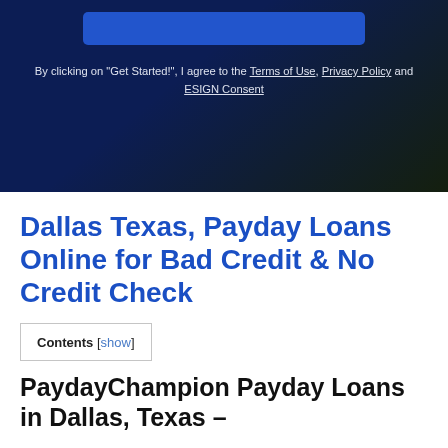[Figure (screenshot): Dark navy blue banner section with a blue button placeholder at top and consent text below]
By clicking on "Get Started!", I agree to the Terms of Use, Privacy Policy and ESIGN Consent
Dallas Texas, Payday Loans Online for Bad Credit & No Credit Check
Contents [show]
PaydayChampion Payday Loans in Dallas, Texas –